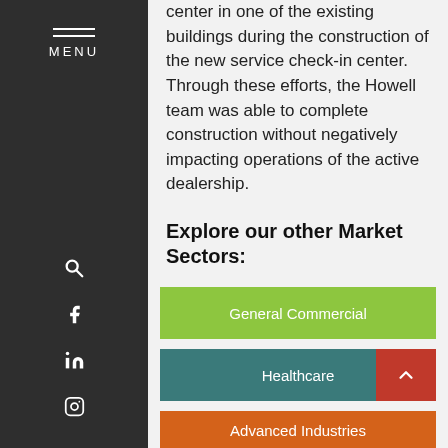MENU
center in one of the existing buildings during the construction of the new service check-in center. Through these efforts, the Howell team was able to complete construction without negatively impacting operations of the active dealership.
Explore our other Market Sectors:
General Commercial
Healthcare
Advanced Industries